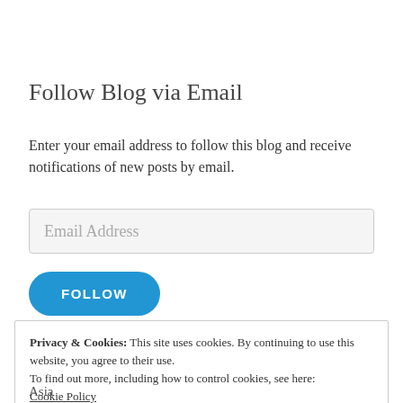Follow Blog via Email
Enter your email address to follow this blog and receive notifications of new posts by email.
Email Address
FOLLOW
Privacy & Cookies: This site uses cookies. By continuing to use this website, you agree to their use.
To find out more, including how to control cookies, see here:
Cookie Policy
Close and accept
Asia